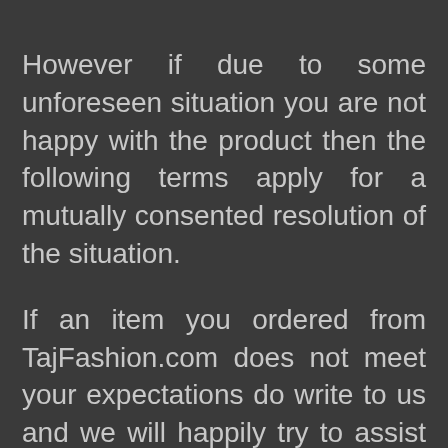However if due to some unforeseen situation you are not happy with the product then the following terms apply for a mutually consented resolution of the situation.
If an item you ordered from TajFashion.com does not meet your expectations do write to us and we will happily try to assist you. We are dedicated at TajFashion.com to offer you the best quality in our